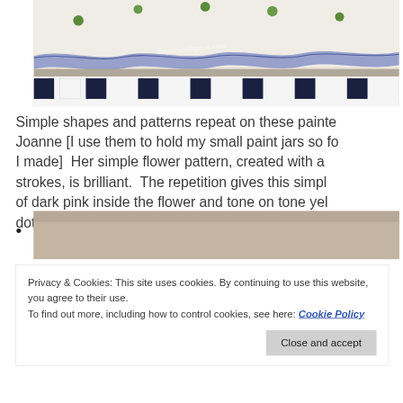[Figure (photo): Close-up photo of a painted ceramic or wooden object with white background, green dots on top edge, a blue wavy stripe, and a black-and-white checkered/dashed band along the bottom. Watermark reads 'thepaintedapron.com'.]
Simple shapes and patterns repeat on these painte Joanne [I use them to hold my small paint jars so fo I made]  Her simple flower pattern, created with a strokes, is brilliant.  The repetition gives this simpl of dark pink inside the flower and tone on tone yel dots, and green bands,  this is a adorable design an
•
[Figure (photo): Partial photo showing colorful painted items, cropped.]
Privacy & Cookies: This site uses cookies. By continuing to use this website, you agree to their use.
To find out more, including how to control cookies, see here: Cookie Policy
[Figure (photo): Bottom partial photo showing colorful painted items including what appear to be painted stones or candies.]